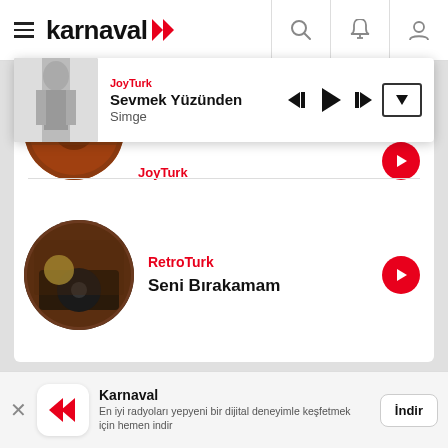karnaval
[Figure (screenshot): Karnaval music streaming app screenshot showing media player popup with JoyTurk station playing 'Sevmek Yüzünden' by Simge, and RetroTurk station showing 'Seni Bırakamam'. Bottom banner shows app download prompt.]
JoyTurk
Sevmek Yüzünden
Simge
RetroTurk
Seni Bırakamam
Karnaval
En iyi radyoları yepyeni bir dijital deneyimle keşfetmek için hemen indir
İndir